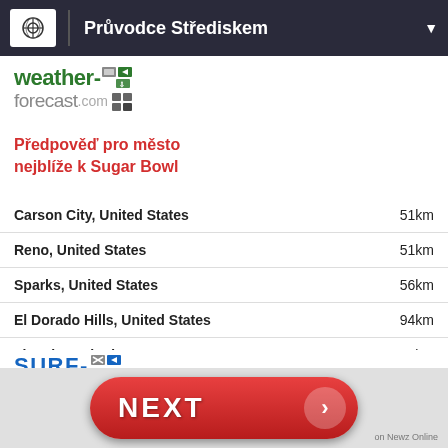Průvodce Střediskem
[Figure (logo): weather-forecast.com logo with green and grey text and small icons]
Předpověď pro město nejblíže k Sugar Bowl
| City | Distance |
| --- | --- |
| Carson City, United States | 51km |
| Reno, United States | 51km |
| Sparks, United States | 56km |
| El Dorado Hills, United States | 94km |
| Lincoln, United States | 95km |
[Figure (logo): surf-forecast.com logo with blue uppercase SURF and grey forecast.com text]
Surfové spoty
[Figure (screenshot): NEXT button in red pill shape with arrow, on Newz Online ad bar]